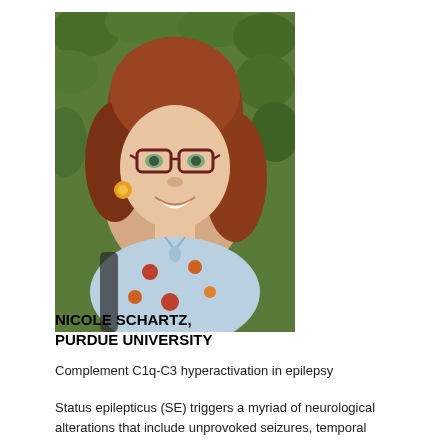[Figure (photo): Headshot photo of Nicole Schartz, a woman with auburn/reddish-brown hair, glasses, wearing a floral dress, smiling, outdoors with green foliage in background.]
NICOLE SCHARTZ, PURDUE UNIVERSITY
Complement C1q-C3 hyperactivation in epilepsy
Status epilepticus (SE) triggers a myriad of neurological alterations that include unprovoked seizures, temporal